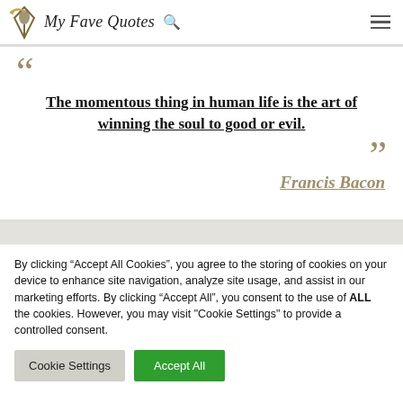My Fave Quotes
The momentous thing in human life is the art of winning the soul to good or evil.
Francis Bacon
By clicking “Accept All Cookies”, you agree to the storing of cookies on your device to enhance site navigation, analyze site usage, and assist in our marketing efforts. By clicking “Accept All”, you consent to the use of ALL the cookies. However, you may visit "Cookie Settings" to provide a controlled consent.